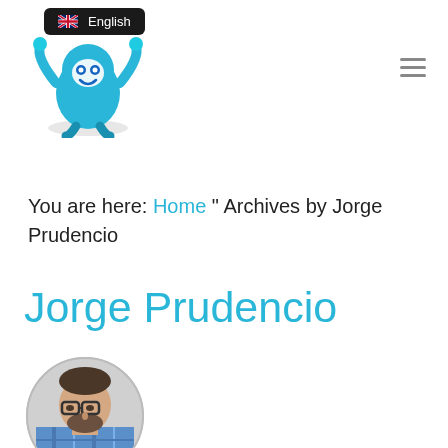English (language selector)
[Figure (illustration): Blue cartoon mascot character holding arms up, smiling, with a round blue body and big eyes]
You are here: Home " Archives by Jorge Prudencio
Jorge Prudencio
[Figure (photo): Circular profile photo of Jorge Prudencio, a man with glasses and a beard wearing a plaid shirt]